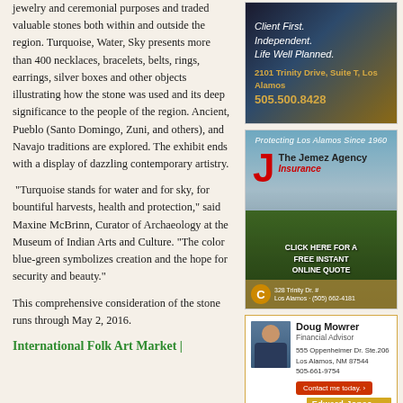jewelry and ceremonial purposes and traded valuable stones both within and outside the region. Turquoise, Water, Sky presents more than 400 necklaces, bracelets, belts, rings, earrings, silver boxes and other objects illustrating how the stone was used and its deep significance to the people of the region. Ancient, Pueblo (Santo Domingo, Zuni, and others), and Navajo traditions are explored. The exhibit ends with a display of dazzling contemporary artistry.
“Turquoise stands for water and for sky, for bountiful harvests, health and protection,” said Maxine McBrinn, Curator of Archaeology at the Museum of Indian Arts and Culture. “The color blue-green symbolizes creation and the hope for security and beauty.”
This comprehensive consideration of the stone runs through May 2, 2016.
International Folk Art Market |
[Figure (photo): Financial advisor advertisement: Client First. Independent. Life Well Planned. 2101 Trinity Drive, Suite T, Los Alamos. 505.500.8428]
[Figure (photo): The Jemez Agency Insurance advertisement with landscape background. Protecting Los Alamos Since 1960. Click here for a free instant online quote. Contact info: Los Alamos.]
[Figure (photo): Edward Jones advertisement featuring Doug Mowrer, Financial Advisor. 555 Oppenheimer Dr. Ste.206, Los Alamos, NM 87544, 505-661-9754. Contact me today. Member SIPC.]